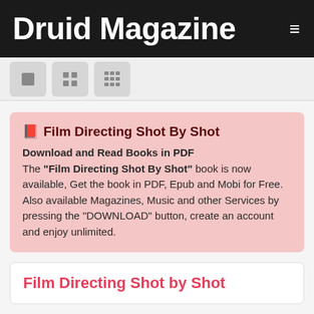Druid Magazine
[Figure (screenshot): View toggle toolbar with three buttons: single column, 2-column grid, and 3-column grid icons]
📕 Film Directing Shot By Shot
Download and Read Books in PDF
The "Film Directing Shot By Shot" book is now available, Get the book in PDF, Epub and Mobi for Free. Also available Magazines, Music and other Services by pressing the "DOWNLOAD" button, create an account and enjoy unlimited.
Film Directing Shot by Shot